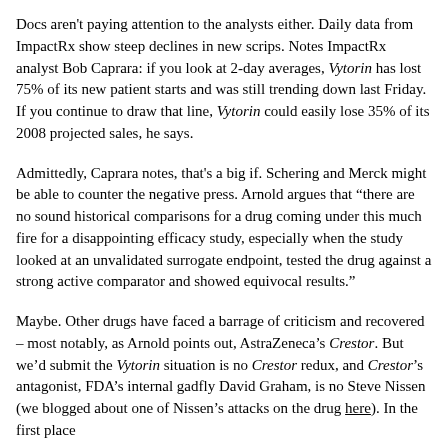Docs aren't paying attention to the analysts either. Daily data from ImpactRx show steep declines in new scrips. Notes ImpactRx analyst Bob Caprara: if you look at 2-day averages, Vytorin has lost 75% of its new patient starts and was still trending down last Friday. If you continue to draw that line, Vytorin could easily lose 35% of its 2008 projected sales, he says.
Admittedly, Caprara notes, that's a big if. Schering and Merck might be able to counter the negative press. Arnold argues that "there are no sound historical comparisons for a drug coming under this much fire for a disappointing efficacy study, especially when the study looked at an unvalidated surrogate endpoint, tested the drug against a strong active comparator and showed equivocal results."
Maybe. Other drugs have faced a barrage of criticism and recovered – most notably, as Arnold points out, AstraZeneca's Crestor. But we'd submit the Vytorin situation is no Crestor redux, and Crestor's antagonist, FDA's internal gadfly David Graham, is no Steve Nissen (we blogged about one of Nissen's attacks on the drug here). In the first place...